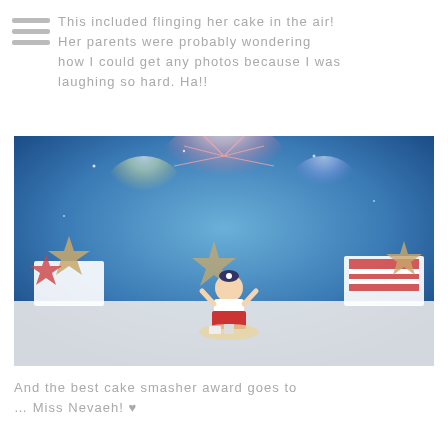This included flinging her cake in the air! Her parents were probably wondering how I could get any photos because I was laughing so hard. Ha!!
[Figure (photo): A baby girl sitting on a white floor surrounded by smashed cake, in front of a festive 4th of July backdrop with fireworks, stars, and red/white/blue decorations.]
And the best cake smasher award goes to … Miss Nevaeh! ♥